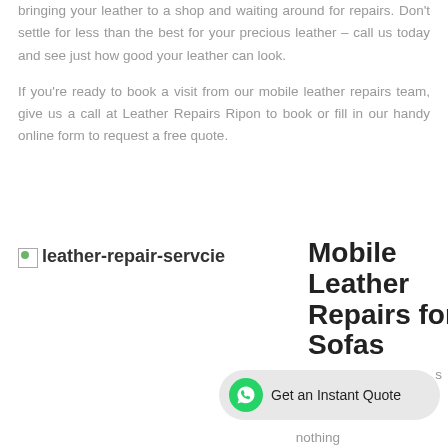bringing your leather to a shop and waiting around for repairs. Don't settle for less than the best for your precious leather – call us today and see just how good your leather can look.
If you're ready to book a visit from our mobile leather repairs team, give us a call at Leather Repairs Ripon to book or fill in our handy online form to request a free quote.
[Figure (photo): Broken image placeholder labeled 'leather-repair-servcie']
Mobile Leather Repairs for Sofas
[Figure (infographic): WhatsApp button with text 'Get an Instant Quote']